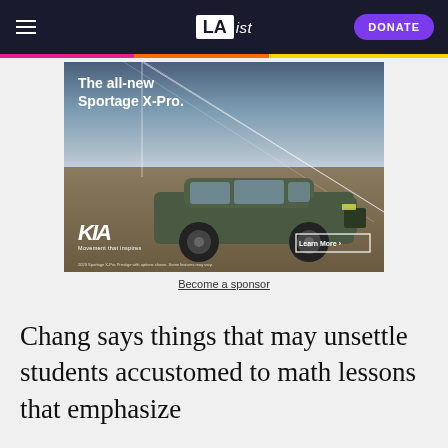LAist — DONATE
[Figure (photo): Kia Sportage X-Pro advertisement showing a dark green SUV driving on a flat surface with a dramatic sky background. Text reads 'The all-new Sportage X-Pro.' with Kia logo, 'Movement that inspires', 'Learn More >' button, and disclaimer text '2023 Sportage X-Pro Prestige with options shown. Some features may vary.']
Become a sponsor
Chang says things that may unsettle students accustomed to math lessons that emphasize